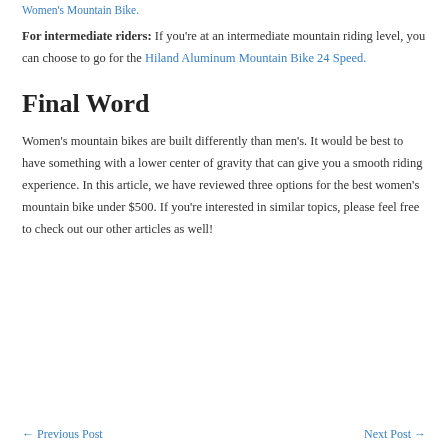Women's Mountain Bike.
For intermediate riders: If you're at an intermediate mountain riding level, you can choose to go for the Hiland Aluminum Mountain Bike 24 Speed.
Final Word
Women's mountain bikes are built differently than men's. It would be best to have something with a lower center of gravity that can give you a smooth riding experience. In this article, we have reviewed three options for the best women's mountain bike under $500. If you're interested in similar topics, please feel free to check out our other articles as well!
← Previous Post    Next Post →